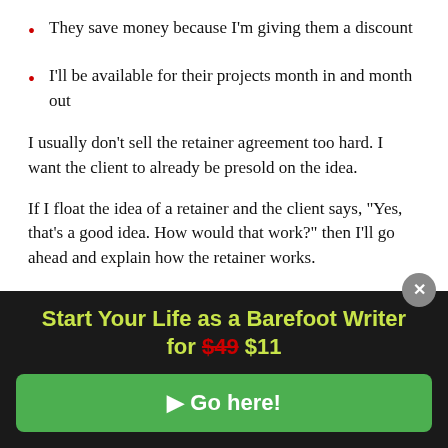They save money because I'm giving them a discount
I'll be available for their projects month in and month out
I usually don't sell the retainer agreement too hard. I want the client to already be presold on the idea.
If I float the idea of a retainer and the client says, "Yes, that's a good idea. How would that work?" then I'll go ahead and explain how the retainer works.
Start Your Life as a Barefoot Writer for $49 $11
▶ Go here!